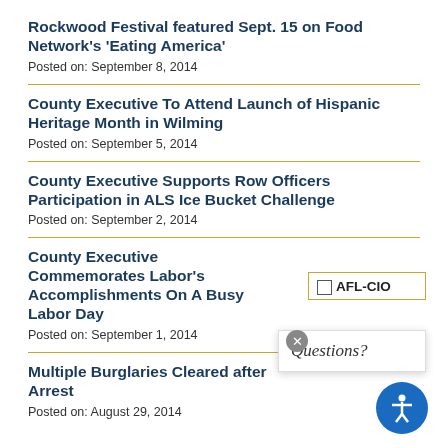Rockwood Festival featured Sept. 15 on Food Network's 'Eating America'
Posted on: September 8, 2014
County Executive To Attend Launch of Hispanic Heritage Month in Wilming
Posted on: September 5, 2014
County Executive Supports Row Officers Participation in ALS Ice Bucket Challenge
Posted on: September 2, 2014
County Executive Commemorates Labor's Accomplishments On A Busy Labor Day
Posted on: September 1, 2014
Multiple Burglaries Cleared after Arrest
Posted on: August 29, 2014